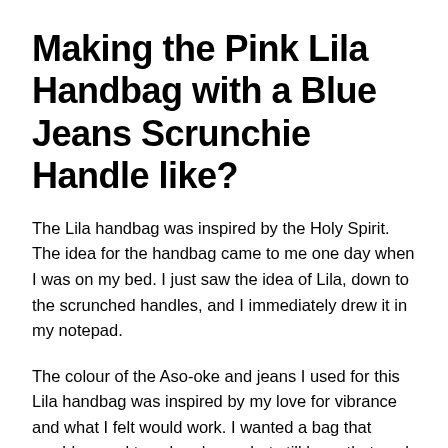Making the Pink Lila Handbag with a Blue Jeans Scrunchie Handle like?
The Lila handbag was inspired by the Holy Spirit. The idea for the handbag came to me one day when I was on my bed. I just saw the idea of Lila, down to the scrunched handles, and I immediately drew it in my notepad.
The colour of the Aso-oke and jeans I used for this Lila handbag was inspired by my love for vibrance and what I felt would work. I wanted a bag that would appeal to colour lovers but still have that cool calming effect with the blue